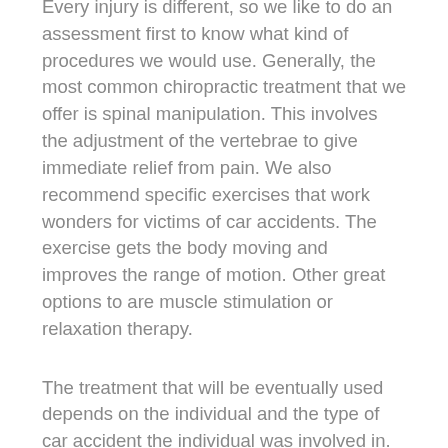Every injury is different, so we like to do an assessment first to know what kind of procedures we would use. Generally, the most common chiropractic treatment that we offer is spinal manipulation. This involves the adjustment of the vertebrae to give immediate relief from pain. We also recommend specific exercises that work wonders for victims of car accidents. The exercise gets the body moving and improves the range of motion. Other great options to are muscle stimulation or relaxation therapy.
The treatment that will be eventually used depends on the individual and the type of car accident the individual was involved in. that is why a proper physical examination is very